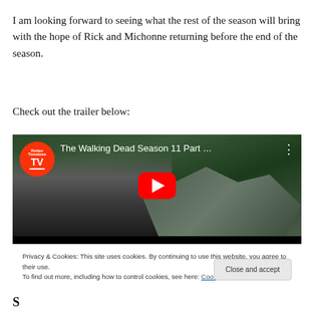I am looking forward to seeing what the rest of the season will bring with the hope of Rick and Michonne returning before the end of the season.
Check out the trailer below:
[Figure (screenshot): YouTube video thumbnail for 'The Walking Dead Season 11 Part ...' showing a woman with dark hair in the foreground and soldiers in gas masks in the background, with a red YouTube play button in the center. Rotten Tomatoes TV logo in top left corner.]
Privacy & Cookies: This site uses cookies. By continuing to use this website, you agree to their use.
To find out more, including how to control cookies, see here: Cookie Policy
S